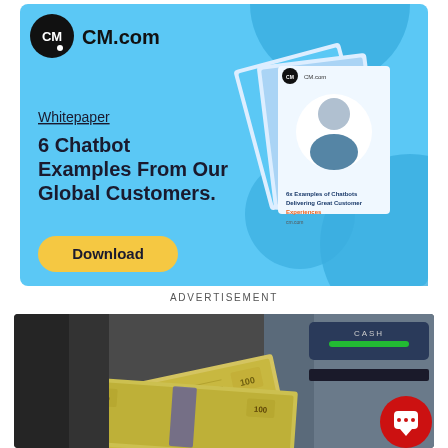[Figure (infographic): CM.com advertisement banner with light blue background. Shows CM.com logo (black circle with CM text), 'Whitepaper' label, bold title '6 Chatbot Examples From Our Global Customers.', a yellow 'Download' button, whitepaper book mockups with a woman's photo, and blue decorative blob shapes.]
ADVERTISEMENT
[Figure (photo): Close-up photo of stacks of US dollar bills being dispensed from an ATM cash slot. The ATM panel shows 'CASH' label with a green indicator bar. A red chat bubble icon is visible in the bottom-right corner.]